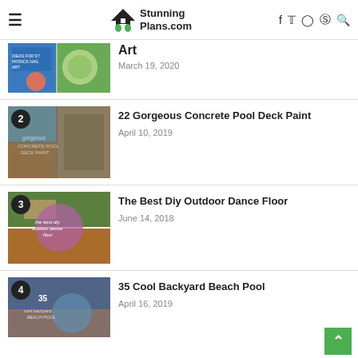StunningPlans.com
Art — March 19, 2020
22 Gorgeous Concrete Pool Deck Paint — April 10, 2019
The Best Diy Outdoor Dance Floor — June 14, 2018
35 Cool Backyard Beach Pool — April 16, 2019